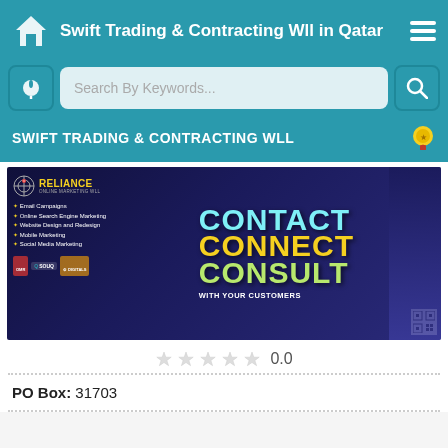Swift Trading & Contracting Wll in Qatar
Search By Keywords...
SWIFT TRADING & CONTRACTING WLL
[Figure (photo): Reliance Online Marketing banner image showing a businessman in a suit with the words CONTACT, CONNECT, CONSULT WITH YOUR CUSTOMERS. Services listed: Email Campaigns, Online Search Engine Marketing, Website Design and Redesign, Mobile Marketing, Social Media Marketing. Partner logos visible at bottom including Souq.]
0.0
PO Box: 31703